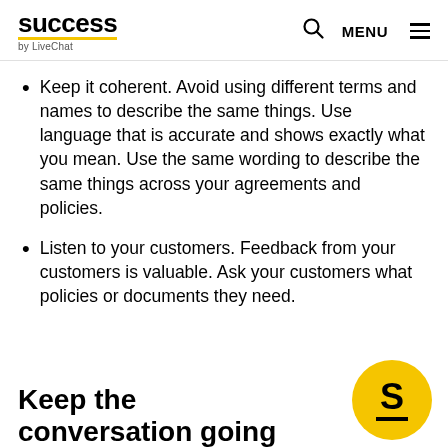success by LiveChat — search and menu navigation
Keep it coherent. Avoid using different terms and names to describe the same things. Use language that is accurate and shows exactly what you mean. Use the same wording to describe the same things across your agreements and policies.
Listen to your customers. Feedback from your customers is valuable. Ask your customers what policies or documents they need.
Keep the conversation going